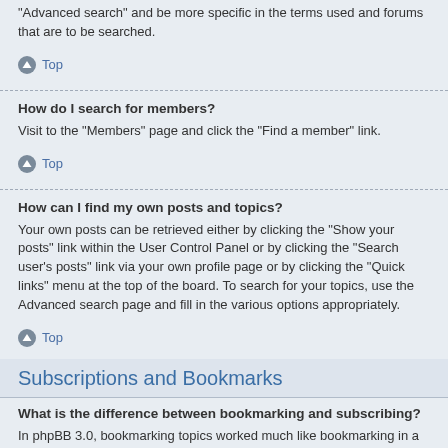“Advanced search” and be more specific in the terms used and forums that are to be searched.
Top
How do I search for members?
Visit to the “Members” page and click the “Find a member” link.
Top
How can I find my own posts and topics?
Your own posts can be retrieved either by clicking the “Show your posts” link within the User Control Panel or by clicking the “Search user’s posts” link via your own profile page or by clicking the “Quick links” menu at the top of the board. To search for your topics, use the Advanced search page and fill in the various options appropriately.
Top
Subscriptions and Bookmarks
What is the difference between bookmarking and subscribing?
In phpBB 3.0, bookmarking topics worked much like bookmarking in a web browser. You were not alerted when there was an update. As of phpBB 3.1, bookmarking is more like subscribing to a topic. You can be notified when a bookmarked topic is updated. Subscribing, however, will notify you when there is